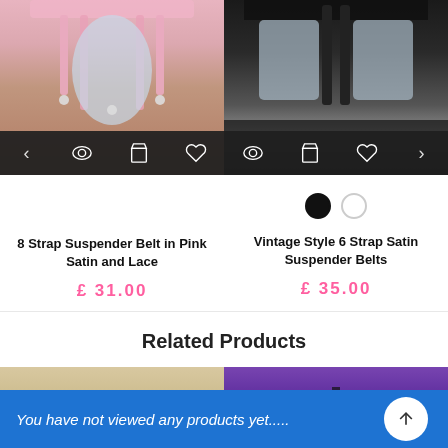[Figure (photo): Product photo of 8 Strap Suspender Belt in Pink Satin and Lace, showing pink garter belt with action bar overlay]
[Figure (photo): Product photo of Vintage Style 6 Strap Satin Suspender Belts in black/white, showing black suspender belt with action bar overlay and color swatches]
8 Strap Suspender Belt in Pink Satin and Lace
£ 31.00
Vintage Style 6 Strap Satin Suspender Belts
£ 35.00
Related Products
[Figure (photo): Related product photo left - beige/tan colored garment]
[Figure (photo): Related product photo right - purple/violet colored garment]
You have not viewed any products yet.....